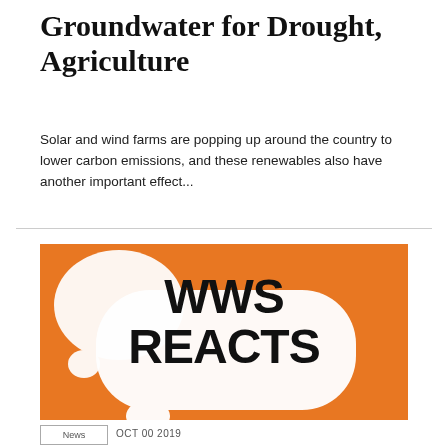Groundwater for Drought, Agriculture
Solar and wind farms are popping up around the country to lower carbon emissions, and these renewables also have another important effect...
[Figure (illustration): Orange background graphic with two white speech bubbles and bold black text reading 'WWS REACTS']
OCT 00 2019